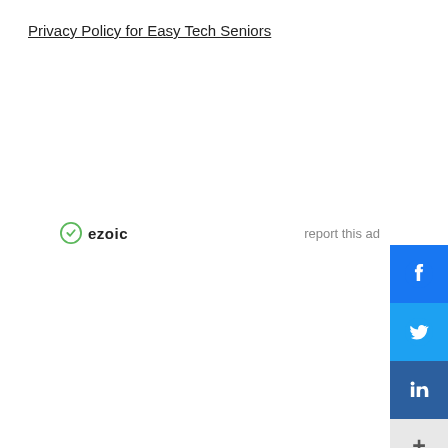Privacy Policy for Easy Tech Seniors
[Figure (infographic): Social share sidebar with Facebook, Twitter, LinkedIn buttons and a more (+) button on the right edge of the page]
[Figure (logo): Ezoic logo with green icon and 'ezoic' text, alongside 'report this ad' link]